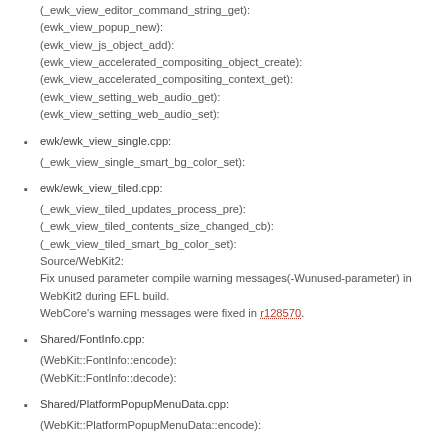(_ewk_view_editor_command_string_get):
(ewk_view_popup_new):
(ewk_view_js_object_add):
(ewk_view_accelerated_compositing_object_create):
(ewk_view_accelerated_compositing_context_get):
(ewk_view_setting_web_audio_get):
(ewk_view_setting_web_audio_set):
ewk/ewk_view_single.cpp:
(_ewk_view_single_smart_bg_color_set):
ewk/ewk_view_tiled.cpp:
(_ewk_view_tiled_updates_process_pre):
(_ewk_view_tiled_contents_size_changed_cb):
(_ewk_view_tiled_smart_bg_color_set):
Source/WebKit2:
Fix unused parameter compile warning messages(-Wunused-parameter) in WebKit2 during EFL build.
WebCore's warning messages were fixed in r128570.
Shared/FontInfo.cpp:
(WebKit::FontInfo::encode):
(WebKit::FontInfo::decode):
Shared/PlatformPopupMenuData.cpp:
(WebKit::PlatformPopupMenuData::encode):